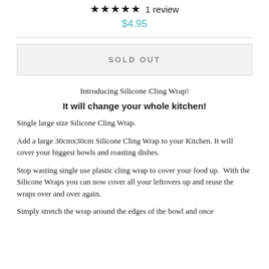★★★★★ 1 review
$4.95
SOLD OUT
Introducing Silicone Cling Wrap!
It will change your whole kitchen!
Single large size Silicone Cling Wrap.
Add a large 30cmx30cm Silicone Cling Wrap to your Kitchen. It will cover your biggest bowls and roasting dishes.
Stop wasting single use plastic cling wrap to cover your food up.  With the Silicone Wraps you can now cover all your leftovers up and reuse the wraps over and over again.
Simply stretch the wrap around the edges of the bowl and once